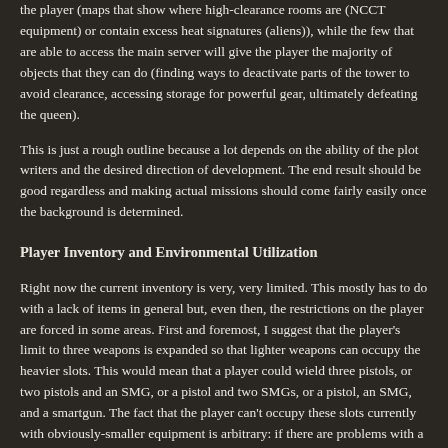the player (maps that show where high-clearance rooms are (NCCT equipment) or contain excess heat signatures (aliens)), while the few that are able to access the main server will give the player the majority of objects that they can do (finding ways to deactivate parts of the tower to avoid clearance, accessing storage for powerful gear, ultimately defeating the queen).
This is just a rough outline because a lot depends on the ability of the plot writers and the desired direction of development. The end result should be good regardless and making actual missions should come fairly easily once the background is determined.
Player Inventory and Environmental Utilization
Right now the current inventory is very, very limited. This mostly has to do with a lack of items in general but, even then, the restrictions on the player are forced in some areas. First and foremost, I suggest that the player's limit to three weapons is expanded so that lighter weapons can occupy the heavier slots. This would mean that a player could wield three pistols, or two pistols and an SMG, or a pistol and two SMGs, or a pistol, an SMG, and a smartgun. The fact that the player can't occupy these slots currently with obviously-smaller equipment is arbitrary: if there are problems with a player being able to use, for instance, all three sidearms, this should be addressed as a balance issue instead of a fundamental one. (The switching between weapons can still be the same, at least roughly, if that is the concern.)
One of the nicer results of this is that the player now have three "inventory" slots, rather than a slot for each weapon category specifically, which means that we can start to include some items that would go in one of these slots without actually being a weapon. Some